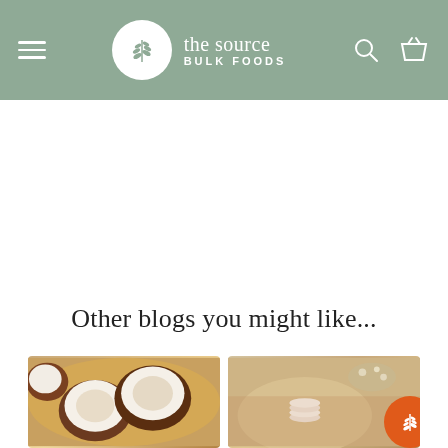the source BULK FOODS — navigation header with hamburger menu, logo, search and basket icons
Other blogs you might like...
[Figure (photo): Two halved coconuts showing white coconut flesh, warm brown tones, top-down view]
[Figure (photo): Soft beige and neutral toned lifestyle flat lay with small white cotton pads and dried flowers]